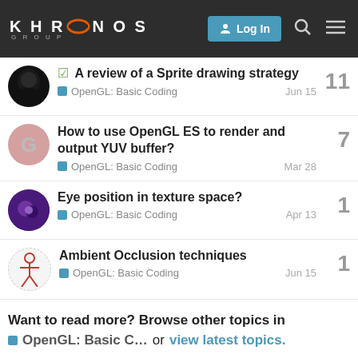Khronos Group — Log In
A review of a Sprite drawing strategy — OpenGL: Basic Coding — Jun 15 — 11 replies
How to use OpenGL ES to render and output YUV buffer? — OpenGL: Basic Coding — Mar 28 — 7 replies
Eye position in texture space? — OpenGL: Basic Coding — Apr 13 — 1 reply
Ambient Occlusion techniques — OpenGL: Basic Coding — Jun 15 — 1 reply
Want to read more? Browse other topics in OpenGL: Basic C… or view latest topics.